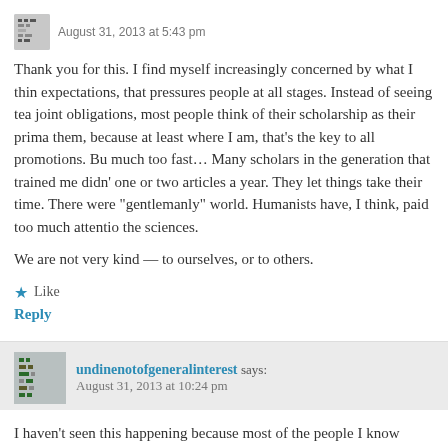August 31, 2013 at 5:43 pm
Thank you for this. I find myself increasingly concerned by what I think of as the publish-or-perish expectations, that pressures people at all stages. Instead of seeing teaching and research as joint obligations, most people think of their scholarship as their primary job — and I can't blame them, because at least where I am, that's the key to all promotions. But things seem to go much too fast… Many scholars in the generation that trained me didn't publish more than one or two articles a year. They let things take their time. There were standards in that "gentlemanly" world. Humanists have, I think, paid too much attention to the productivity models in the sciences.
We are not very kind — to ourselves, or to others.
Like
Reply
undinenotofgeneralinterest says: August 31, 2013 at 10:24 pm
I haven't seen this happening because most of the people I know (including non-tenure track faculty) are happy, or pretend to be, to have a job in this miserable economy, as you say. Maybe CHE should write about it. As to Susan's point: Humanists didn't adopt productivity models until we had to, I don't think. Want a t-t line? Wa...